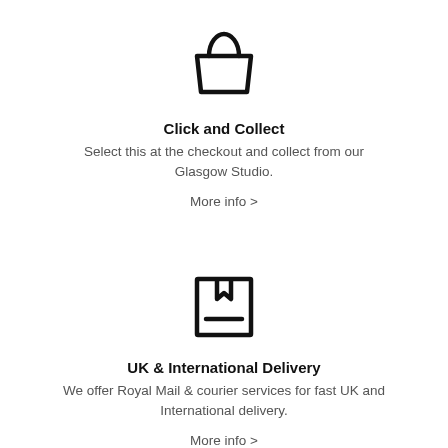[Figure (illustration): Shopping bag icon — outline of a bag with a rounded handle, trapezoid body with thick black stroke]
Click and Collect
Select this at the checkout and collect from our Glasgow Studio.
More info >
[Figure (illustration): Shipping box / package icon — outline rectangle with a bookmark tab at top and a horizontal line near the bottom, thick black stroke]
UK & International Delivery
We offer Royal Mail & courier services for fast UK and International delivery.
More info >